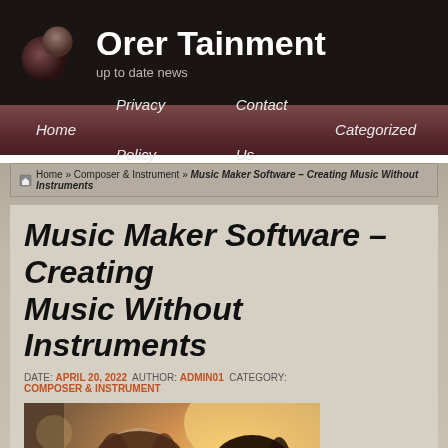Orer Tainment – up to date news
Home | Privacy Policy | Contact Us | Categorized
Home » Composer & Instrument » Music Maker Software – Creating Music Without Instruments
Music Maker Software – Creating Music Without Instruments
DATE: APRIL 20, 2022  AUTHOR: ADMIN01  CATEGORY: COMPOSER & INSTRUMENT
[Figure (photo): Two smiling women, warm bokeh background, indoor setting]